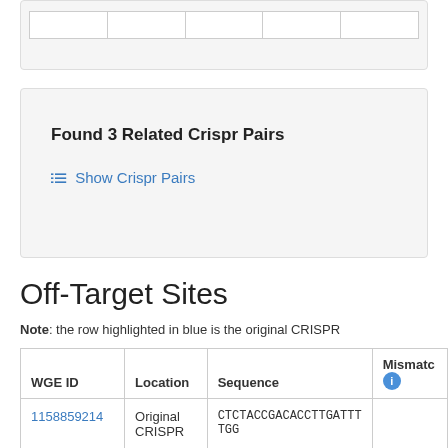|  |
Found 3 Related Crispr Pairs
Show Crispr Pairs
Off-Target Sites
Note: the row highlighted in blue is the original CRISPR
| WGE ID | Location | Sequence | Mismatch |
| --- | --- | --- | --- |
| 1158859214 | Original CRISPR | CTCTACCGACACCTTGATTT TGG |  |
|  |  | Could not retrieve off-targets: |  |